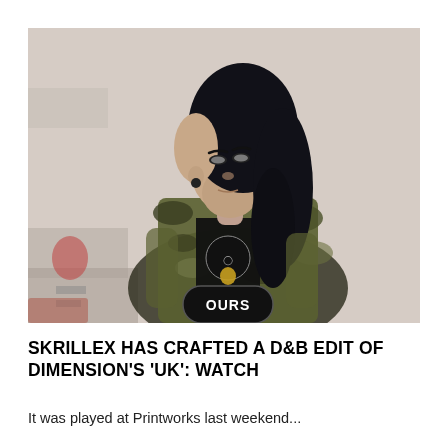[Figure (photo): Photo of Skrillex — a young man with long black hair shaved on one side, wearing a camouflage jacket over a black Nike shirt and a basketball-style jersey showing 'OURS', standing against a white brick wall]
SKRILLEX HAS CRAFTED A D&B EDIT OF DIMENSION'S 'UK': WATCH
It was played at Printworks last weekend...